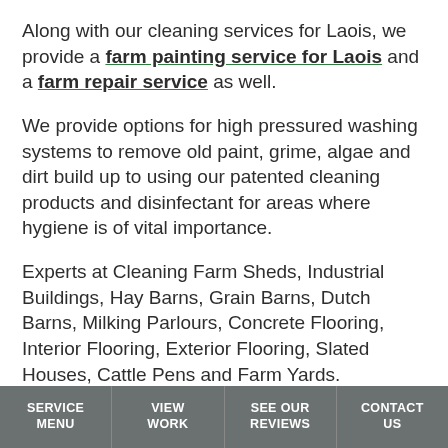Along with our cleaning services for Laois, we provide a farm painting service for Laois and a farm repair service as well.
We provide options for high pressured washing systems to remove old paint, grime, algae and dirt build up to using our patented cleaning products and disinfectant for areas where hygiene is of vital importance.
Experts at Cleaning Farm Sheds, Industrial Buildings, Hay Barns, Grain Barns, Dutch Barns, Milking Parlours, Concrete Flooring, Interior Flooring, Exterior Flooring, Slated Houses, Cattle Pens and Farm Yards.
Call 087 976 5223 to get a free estimate on cleaning your farmyard and farm buildings in Laois.
SERVICE MENU | VIEW WORK | SEE OUR REVIEWS | CONTACT US